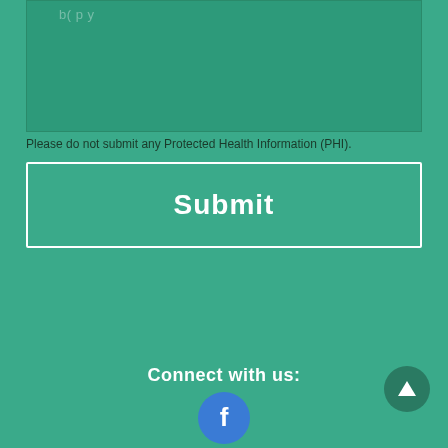[Figure (screenshot): Teal/green text input area (textarea) with faint placeholder text partially visible at top]
Please do not submit any Protected Health Information (PHI).
[Figure (other): Submit button with white border on teal background, bold white text reading 'Submit']
Connect with us:
[Figure (other): Facebook circular icon at bottom center]
[Figure (other): Scroll-to-top circular button with upward arrow at bottom right]